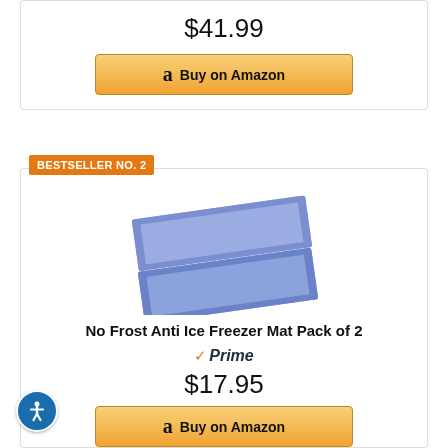$41.99
[Figure (other): Buy on Amazon button with Amazon logo]
BESTSELLER NO. 2
[Figure (photo): Two blue cooling/anti-ice freezer mats stacked at a slight angle]
No Frost Anti Ice Freezer Mat Pack of 2
Prime
$17.95
[Figure (other): Buy on Amazon button with Amazon logo]